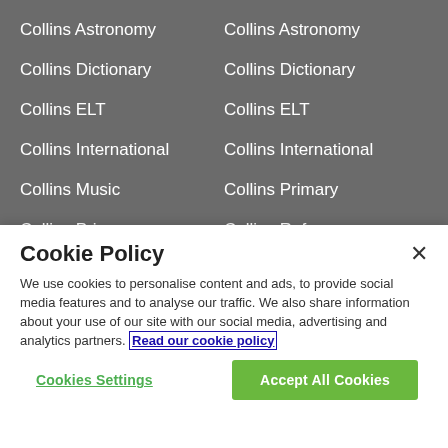Collins Astronomy
Collins Astronomy
Collins Dictionary
Collins Dictionary
Collins ELT
Collins ELT
Collins International
Collins International
Collins Music
Collins Primary
Collins Primary
Collins Reference
Collins Reference
Collins Secondary
Cookie Policy
We use cookies to personalise content and ads, to provide social media features and to analyse our traffic. We also share information about your use of our site with our social media, advertising and analytics partners. Read our cookie policy